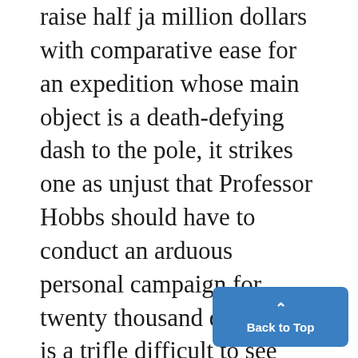raise half ja million dollars with comparative ease for an expedition whose main object is a death-defying dash to the pole, it strikes one as unjust that Professor Hobbs should have to conduct an arduous personal campaign for twenty thousand dollars. It is a trifle difficult to see who will gain particularly by Byrd's hazardous attempt, even should he survive it, while the contrjbutions of Professor Hobbs to the safety of aviation and to pure science are concrete and tangible. The reputation of the